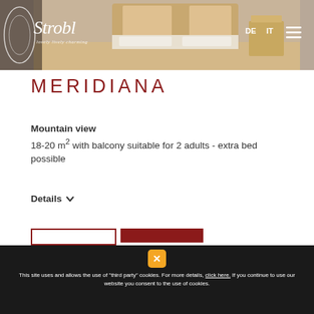[Figure (photo): Hotel room header photo showing a wooden bed and furniture with warm tones, with the Strobl hotel logo overlaid on the left side and DE/IT language navigation links and hamburger menu on the top right.]
MERIDIANA
Mountain view
18-20 m² with balcony suitable for 2 adults - extra bed possible
Details ∨
This site uses and allows the use of "third party" cookies. For more details, click here. If you continue to use our website you consent to the use of cookies.